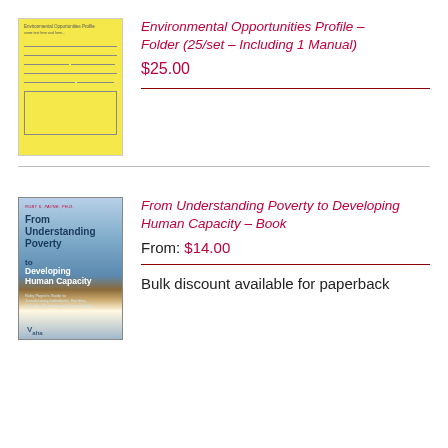[Figure (photo): Yellow folder cover for Environmental Opportunities Profile]
Environmental Opportunities Profile – Folder (25/set – Including 1 Manual)
$25.00
[Figure (photo): Book cover for From Understanding Poverty to Developing Human Capacity by Ruby K. Payne, Ph.D.]
From Understanding Poverty to Developing Human Capacity – Book
From: $14.00
Bulk discount available for paperback